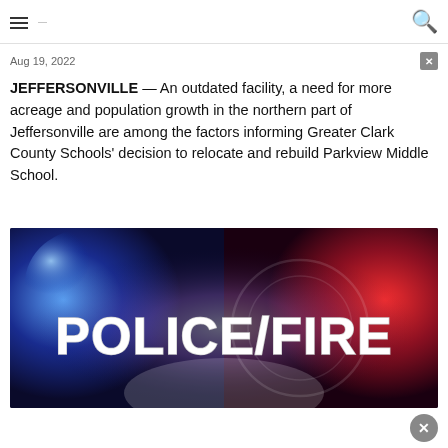≡ — 🔍
Aug 19, 2022
JEFFERSONVILLE — An outdated facility, a need for more acreage and population growth in the northern part of Jeffersonville are among the factors informing Greater Clark County Schools' decision to relocate and rebuild Parkview Middle School.
[Figure (photo): POLICE/FIRE banner image with blue and red police light background]